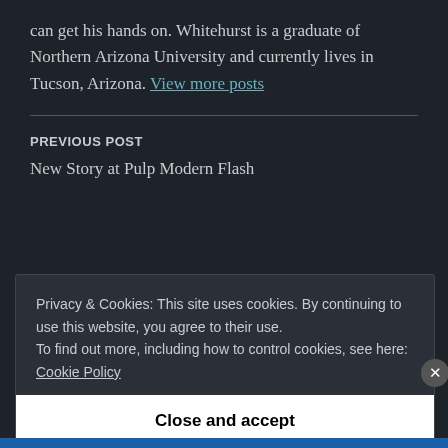can get his hands on. Whitehurst is a graduate of Northern Arizona University and currently lives in Tucson, Arizona. View more posts
PREVIOUS POST
New Story at Pulp Modern Flash
Privacy & Cookies: This site uses cookies. By continuing to use this website, you agree to their use. To find out more, including how to control cookies, see here: Cookie Policy
Close and accept